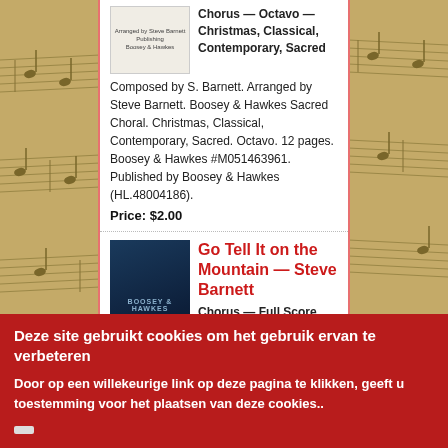[Figure (illustration): Small thumbnail image of sheet music/octavo cover for first product]
Chorus — Octavo — Christmas, Classical, Contemporary, Sacred
Composed by S. Barnett. Arranged by Steve Barnett. Boosey & Hawkes Sacred Choral. Christmas, Classical, Contemporary, Sacred. Octavo. 12 pages. Boosey & Hawkes #M051463961. Published by Boosey & Hawkes (HL.48004186).
Price: $2.00
[Figure (illustration): Boosey & Hawkes dark blue cover thumbnail for Go Tell It on the Mountain]
Go Tell It on the Mountain — Steve Barnett
Chorus — Full Score and Parts — Christmas, Classical, Contemporary, Sacred
Composed by Steve Barnett. Arranged by Barnett. Boosey & Hawkes Sacred Choral. Christmas, Classical, Contemporary, Sacred. Full Score and Parts. Boosey & Hawkes #M051103843. Published by Boosey & Hawkes (HL.48001563).
Deze site gebruikt cookies om het gebruik ervan te verbeteren
Door op een willekeurige link op deze pagina te klikken, geeft u toestemming voor het plaatsen van deze cookies..